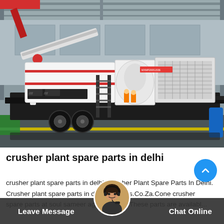[Figure (photo): Industrial mobile crusher plant on wheels inside a large warehouse/factory. The machine is white and black with red accents, mounted on a heavy trailer with wheels. A crane arm is visible in the upper left. Workers in orange vests are near the machine. Yellow floor marking visible at bottom.]
crusher plant spare parts in delhi
crusher plant spare parts in delhi. Crusher Plant Spare Parts In Delhi. Crusher plant spare parts in delhi holdings.Co.Za.Cone crusher spare parts at soul sameer age... ltd.These parts are availabl...